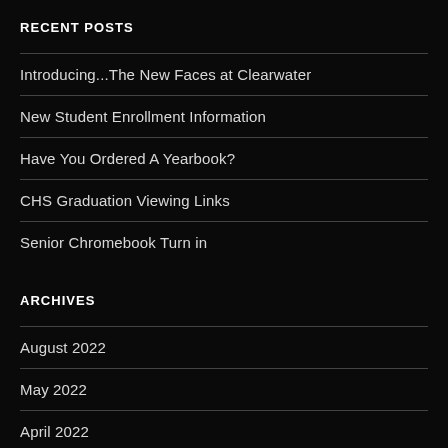RECENT POSTS
Introducing...The New Faces at Clearwater
New Student Enrollment Information
Have You Ordered A Yearbook?
CHS Graduation Viewing Links
Senior Chromebook Turn in
ARCHIVES
August 2022
May 2022
April 2022